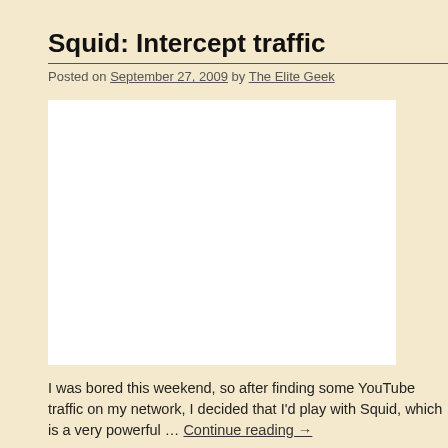Squid: Intercept traffic
Posted on September 27, 2009 by The Elite Geek
[Figure (other): White rectangular advertisement or image placeholder]
I was bored this weekend, so after finding some YouTube traffic on my network, I decided that I'd play with Squid, which is a very powerful … Continue reading →